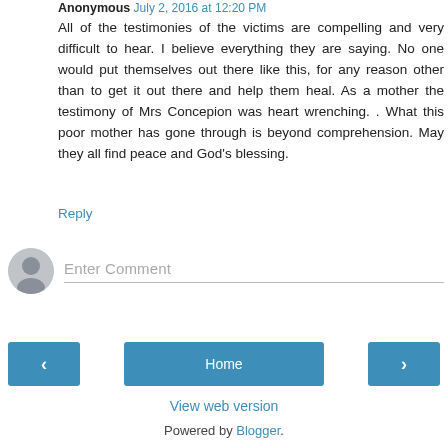Anonymous July 2, 2016 at 12:20 PM
All of the testimonies of the victims are compelling and very difficult to hear. I believe everything they are saying. No one would put themselves out there like this, for any reason other than to get it out there and help them heal. As a mother the testimony of Mrs Concepion was heart wrenching. . What this poor mother has gone through is beyond comprehension. May they all find peace and God's blessing.
Reply
[Figure (illustration): Grey user avatar circle icon for comment input area]
Enter Comment
< Home >
View web version
Powered by Blogger.